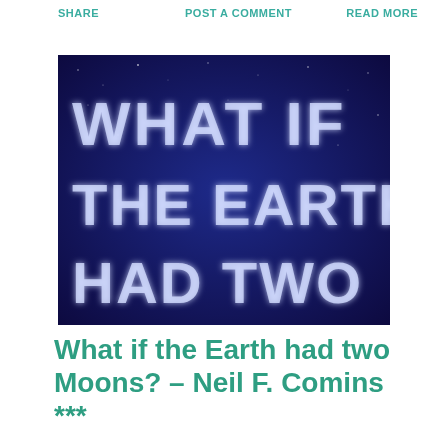SHARE   POST A COMMENT   READ MORE
[Figure (photo): Book cover showing text 'WHAT IF THE EARTH HAD TWO' on a dark blue starry background with glowing white letters]
What if the Earth had two Moons? – Neil F. Comins ***